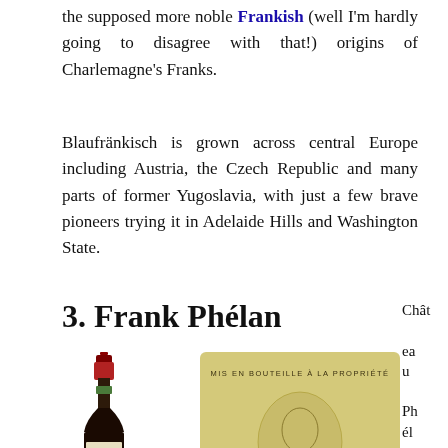the supposed more noble Frankish (well I'm hardly going to disagree with that!) origins of Charlemagne's Franks.
Blaufränkisch is grown across central Europe including Austria, the Czech Republic and many parts of former Yugoslavia, with just a few brave pioneers trying it in Adelaide Hills and Washington State.
3. Frank Phélan
[Figure (photo): Wine bottle of Frank Phélan Château Phélan with red cap and label]
[Figure (photo): Close-up of Frank Phélan wine label showing portrait, text 'MIS EN BOUTEILLE A LA PROPRIETE', '1820-1880', and 'Frank Phélan' in large text]
Château Phélan